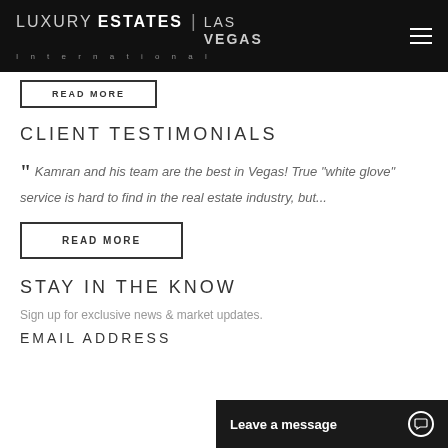LUXURY ESTATES International | LAS VEGAS
CLIENT TESTIMONIALS
Kamran and his team are the best in Vegas! True "white glove" service is hard to find in the real estate industry, but...
READ MORE
STAY IN THE KNOW
Sign up for exclusive news & market updates.
EMAIL ADDRESS
Leave a message